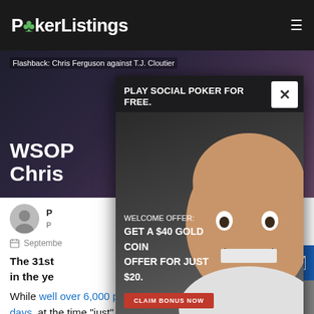PokerListings
[Figure (photo): Hero image showing two poker players, Chris Ferguson against T.J. Cloutier, dark background]
Flashback: Chris Ferguson against T.J. Cloutier
WSOP ... Chris ... utier
[Figure (infographic): Global Poker advertisement overlay: Play Social Poker For Free. Welcome Offer: Get a $40 Gold Coin Offer For Just $20. Claim Bonus Now button. Photo of smiling man.]
P
P
September
The 31st ... as he... in the ye... egas.
While well over 6,000 players hit up the Main Event these days, at the time “just” 512 players forked over the $10,000 to participate in the de facto World Championship of Poker